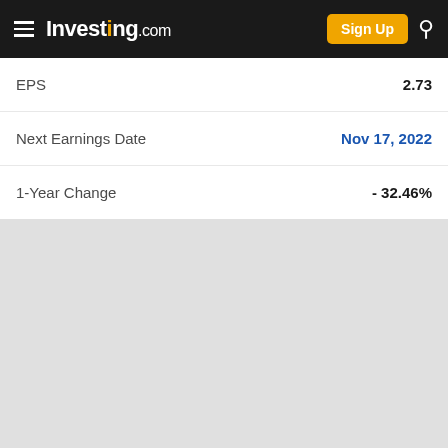Investing.com — Sign Up
|  |  |
| --- | --- |
| EPS | 2.73 |
| Next Earnings Date | Nov 17, 2022 |
| 1-Year Change | - 32.46% |